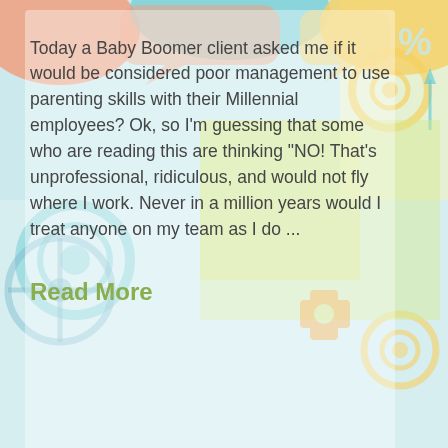[Figure (illustration): Colorful illustrated background featuring cartoon business people with orange block-shaped heads wearing suits, surrounded by gears, speech bubbles, arrows, dollar signs, and other business/management iconography in teal, orange, yellow, and green colors. A label reading 'MILLENIALS' appears in the lower left portion.]
Today a Baby Boomer client asked me if it would be considered poor management to use parenting skills with their Millennial employees? Ok, so I'm guessing that some who are reading this are thinking "NO! That's unprofessional, ridiculous, and would not fly where I work. Never in a million years would I treat anyone on my team as I do ...
Read More